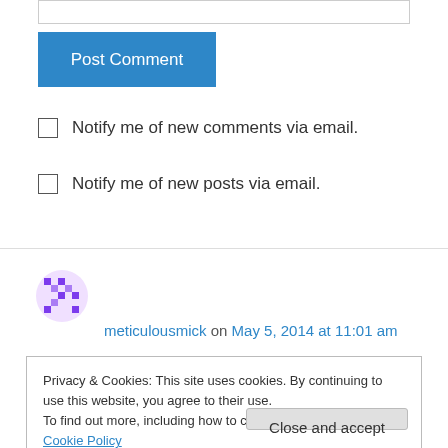[Figure (screenshot): Empty input text box at the top of the page]
Post Comment
Notify me of new comments via email.
Notify me of new posts via email.
meticulousmick on May 5, 2014 at 11:01 am
Hi there HCC, just calling on over to explore your blog and to thank you for the follow on my own
Privacy & Cookies: This site uses cookies. By continuing to use this website, you agree to their use.
To find out more, including how to control cookies, see here: Cookie Policy
Close and accept
Liked by 1 person